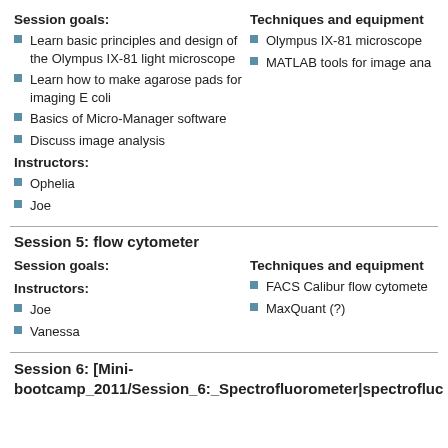Session goals:
Learn basic principles and design of the Olympus IX-81 light microscope
Learn how to make agarose pads for imaging E coli
Basics of Micro-Manager software
Discuss image analysis
Techniques and equipment
Olympus IX-81 microscope
MATLAB tools for image ana
Instructors:
Ophelia
Joe
Session 5: flow cytometer
Session goals:
Techniques and equipment
Instructors:
FACS Calibur flow cytomete
MaxQuant (?)
Joe
Vanessa
Session 6: [Mini-bootcamp_2011/Session_6:_Spectrofluorometer|spectrofluc